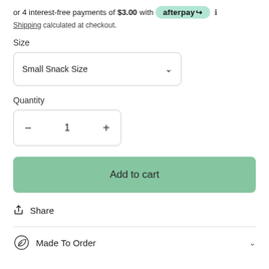or 4 interest-free payments of $3.00 with afterpay ℹ
Shipping calculated at checkout.
Size
Small Snack Size
Quantity
1
Add to cart
Share
Made To Order